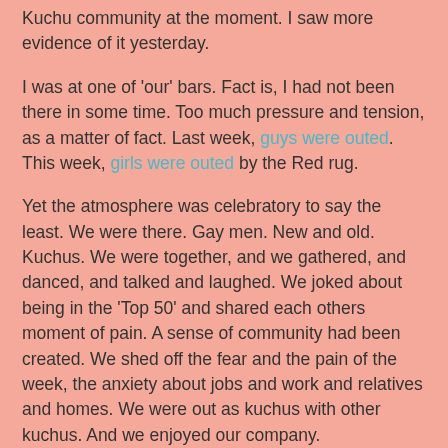Kuchu community at the moment. I saw more evidence of it yesterday.
I was at one of 'our' bars. Fact is, I had not been there in some time. Too much pressure and tension, as a matter of fact. Last week, guys were outed. This week, girls were outed by the Red rug.
Yet the atmosphere was celebratory to say the least. We were there. Gay men. New and old. Kuchus. We were together, and we gathered, and danced, and talked and laughed. We joked about being in the 'Top 50' and shared each others moment of pain. A sense of community had been created. We shed off the fear and the pain of the week, the anxiety about jobs and work and relatives and homes. We were out as kuchus with other kuchus. And we enjoyed our company.
We were so focused on making merry that someone commented that we were paying no attention to the show on the stage. We were not. We were celebrating being alive. Facing one of the things that all kuchus dread, and surviving. Yes, not all of us are out of the woods. There are others who